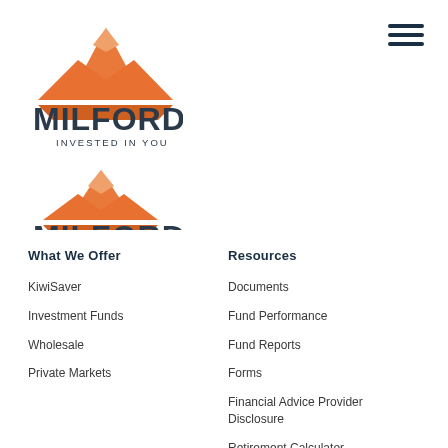[Figure (logo): Milford Asset Management logo — orange mountain illustration above bold dark text 'MILFORD' with tagline 'INVESTED IN YOU', shown twice (once larger, once slightly smaller below)]
[Figure (illustration): Hamburger menu icon — three horizontal dark navy bars stacked vertically, top right corner]
What We Offer
KiwiSaver
Investment Funds
Wholesale
Private Markets
Resources
Documents
Fund Performance
Fund Reports
Forms
Financial Advice Provider Disclosure
Retirement Calculator
Insights